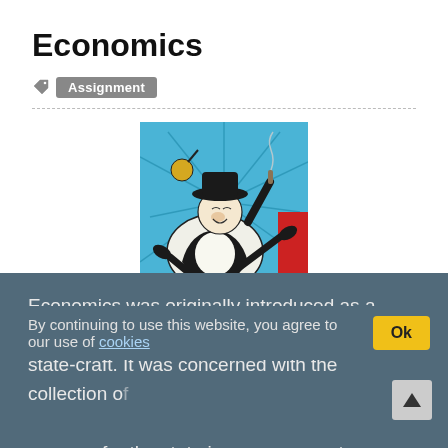Economics
Assignment
[Figure (illustration): Economics book cover illustration featuring a cartoon fat capitalist man lying back holding a money bag, with text 'ECONOMICS' on a black banner at the bottom, blue and red background.]
Economics was originally introduced as a science of state-craft. It was concerned with the collection of revenue for the state i.e., government. Advisors to the government were also required to point out the best possible way of spending the revenue. The
By continuing to use this website, you agree to our use of cookies